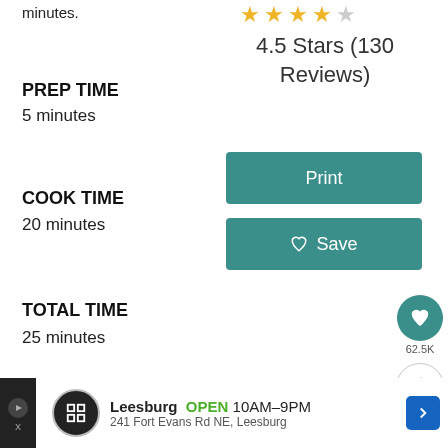minutes.
[Figure (other): Star rating: 4.5 stars (4 gold, 1 gray) and text '4.5 Stars (130 Reviews)']
PREP TIME
5 minutes
COOK TIME
20 minutes
TOTAL TIME
25 minutes
[Figure (other): Teal 'Print' button]
[Figure (other): Teal 'Save' button with heart icon]
[Figure (other): Floating teal heart circle button with 62.5K count, and share button below]
[Figure (other): Green ad banner: cookies for kids cancer - turn your COOKIEs into a CURE LEARN]
[Figure (other): WHAT'S NEXT overlay: Air Fryer Frozen... with food thumbnail]
[Figure (other): Bottom bar: Leesburg OPEN 10AM-9PM, 241 Fort Evans Rd NE, Leesburg]